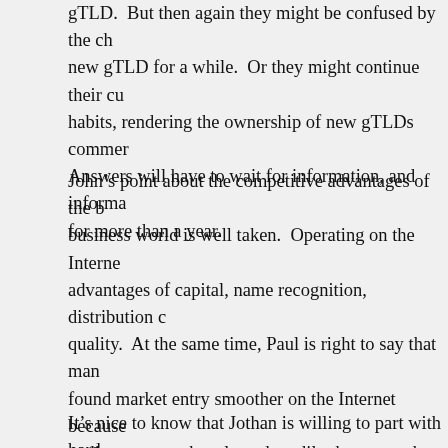gTLD.  But then again they might be confused by the change to a new gTLD for a while.  Or they might continue their current habits, rendering the ownership of new gTLDs commercially moot.  Answers will have to wait for information, and information waits for more than a year.
John's point about the competitive advantages of the big business world is well taken.  Operating on the Internet, advantages of capital, name recognition, distribution channel quality.  At the same time, Paul is right to say that many have found market entry smoother on the Internet because they reach audience more cheaply and readily than any other medium.  If the move to new gTLDs might sacrifice that advantage for a small or lone entrepreneur, it might be a reason to reconsider the rollout of new gTLDs.  But we don't.
It's nice to know that Jothan is willing to part with hard